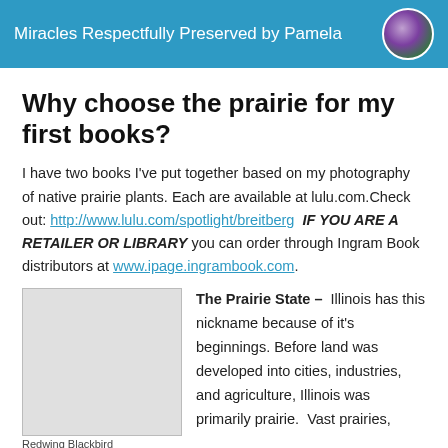Miracles Respectfully Preserved by Pamela
Why choose the prairie for my first books?
I have two books I've put together based on my photography of native prairie plants. Each are available at lulu.com.Check out: http://www.lulu.com/spotlight/breitberg  IF YOU ARE A RETAILER OR LIBRARY you can order through Ingram Book distributors at www.ipage.ingrambook.com.
[Figure (photo): Photo of a Redwing Blackbird, shown as a light gray placeholder image]
Redwing Blackbird
The Prairie State – Illinois has this nickname because of it's beginnings. Before land was developed into cities, industries, and agriculture, Illinois was primarily prairie. Vast prairies,